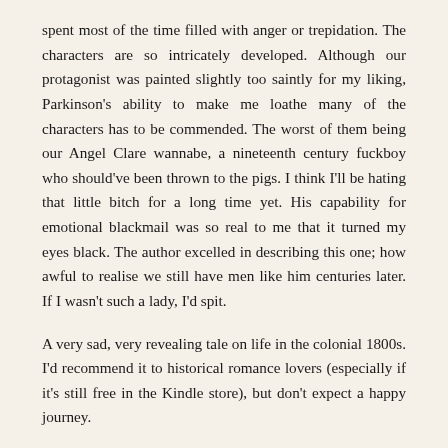spent most of the time filled with anger or trepidation. The characters are so intricately developed. Although our protagonist was painted slightly too saintly for my liking, Parkinson's ability to make me loathe many of the characters has to be commended. The worst of them being our Angel Clare wannabe, a nineteenth century fuckboy who should've been thrown to the pigs. I think I'll be hating that little bitch for a long time yet. His capability for emotional blackmail was so real to me that it turned my eyes black. The author excelled in describing this one; how awful to realise we still have men like him centuries later. If I wasn't such a lady, I'd spit.
A very sad, very revealing tale on life in the colonial 1800s. I'd recommend it to historical romance lovers (especially if it's still free in the Kindle store), but don't expect a happy journey.